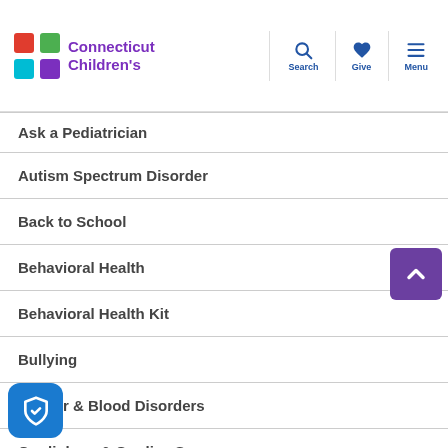Connecticut Children's — Search, Give, Menu
Ask a Pediatrician
Autism Spectrum Disorder
Back to School
Behavioral Health
Behavioral Health Kit
Bullying
Cancer & Blood Disorders
Cardiology & Cardiac Surgery
Children's Development
Community Health